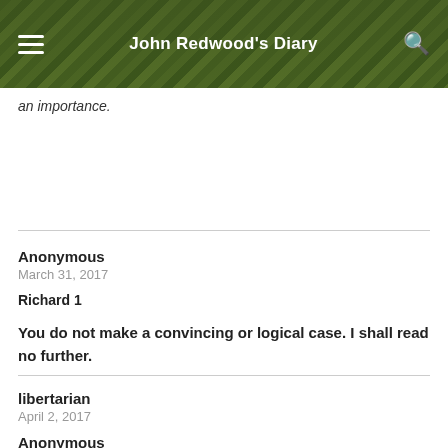John Redwood's Diary
an importance.
Anonymous
March 31, 2017
Richard 1

You do not make a convincing or logical case. I shall read no further.
libertarian
April 2, 2017
Anonymous